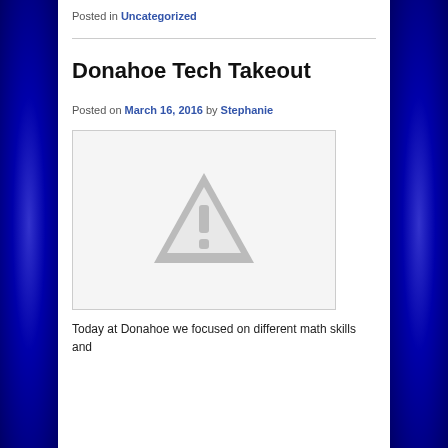Posted in Uncategorized
Donahoe Tech Takeout
Posted on March 16, 2016 by Stephanie
[Figure (other): Placeholder image with warning triangle icon (grey triangle with exclamation mark on light grey background)]
Today at Donahoe we focused on different math skills and